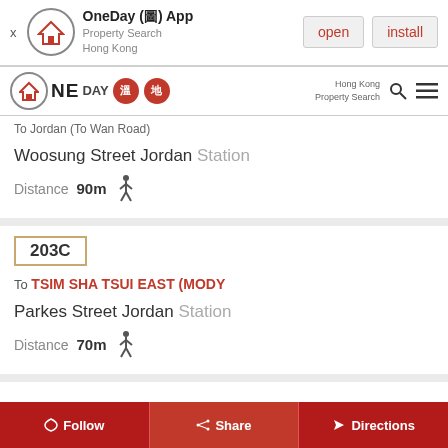[Figure (screenshot): App install banner for OneDay Property Search Hong Kong app with open and install buttons]
OneDay (圖) App Property Search Hong Kong — open | install
[Figure (logo): OneDay 溫地 logo with house icon and red circular badges]
To Jordan (To Wan Road)
Woosung Street Jordan Station
Distance 90m 🚶
203C
To TSIM SHA TSUI EAST (MODY
Parkes Street Jordan Station
Distance 70m 🚶
Follow  Share  Directions